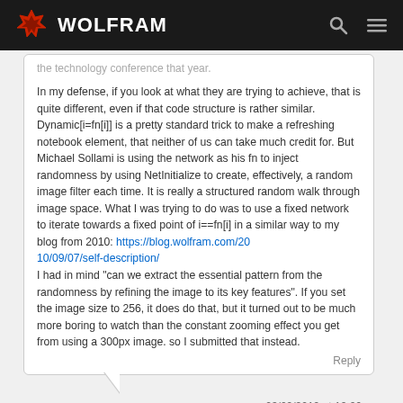WOLFRAM
the technology conference that year.

In my defense, if you look at what they are trying to achieve, that is quite different, even if that code structure is rather similar. Dynamic[i=fn[i]] is a pretty standard trick to make a refreshing notebook element, that neither of us can take much credit for. But Michael Sollami is using the network as his fn to inject randomness by using NetInitialize to create, effectively, a random image filter each time. It is really a structured random walk through image space. What I was trying to do was to use a fixed network to iterate towards a fixed point of i==fn[i] in a similar way to my blog from 2010: https://blog.wolfram.com/2010/09/07/self-description/
I had in mind "can we extract the essential pattern from the randomness by refining the image to its key features". If you set the image size to 256, it does do that, but it turned out to be much more boring to watch than the constant zooming effect you get from using a 300px image. so I submitted that instead.
Reply
Jon McLoone
03/09/2019 at 12:06 pm